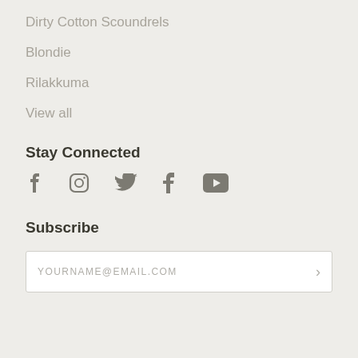Dirty Cotton Scoundrels
Blondie
Rilakkuma
View all
Stay Connected
[Figure (other): Social media icons: Facebook, Instagram, Twitter, Tumblr, YouTube]
Subscribe
YOURNAME@EMAIL.COM